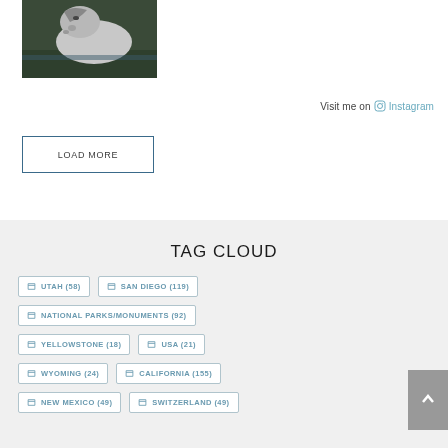[Figure (photo): A white/grey horse partially submerged in dark water, head visible]
Visit me on Instagram
LOAD MORE
TAG CLOUD
UTAH (58)
SAN DIEGO (119)
NATIONAL PARKS/MONUMENTS (92)
YELLOWSTONE (18)
USA (21)
WYOMING (24)
CALIFORNIA (155)
NEW MEXICO (49)
SWITZERLAND (49)